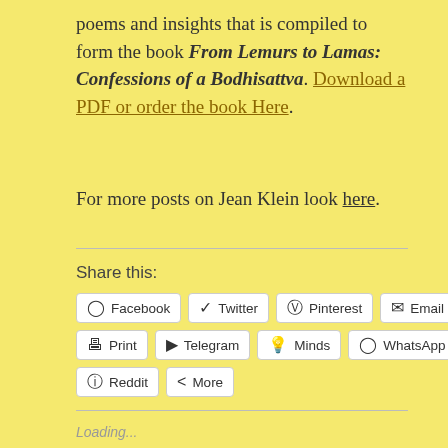poems and insights that is compiled to form the book From Lemurs to Lamas: Confessions of a Bodhisattva. Download a PDF or order the book Here.
For more posts on Jean Klein look here.
Share this:
Facebook  Twitter  Pinterest  Email  Print  Telegram  Minds  WhatsApp  Reddit  More
Loading...